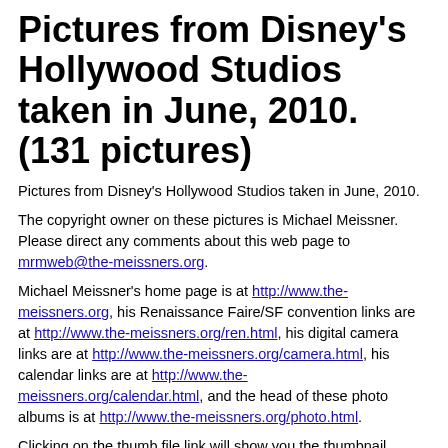Pictures from Disney's Hollywood Studios taken in June, 2010. (131 pictures)
Pictures from Disney's Hollywood Studios taken in June, 2010.
The copyright owner on these pictures is Michael Meissner. Please direct any comments about this web page to mrmweb@the-meissners.org.
Michael Meissner's home page is at http://www.the-meissners.org, his Renaissance Faire/SF convention links are at http://www.the-meissners.org/ren.html, his digital camera links are at http://www.the-meissners.org/camera.html, his calendar links are at http://www.the-meissners.org/calendar.html, and the head of these photo albums is at http://www.the-meissners.org/photo.html.
Clicking on the thumb file link will show you the thumbnail picture that has been reduced to at most 480x360 or 360x480 pixels depending on the picture orientation.
Clicking on the small file link will show you the picture that has